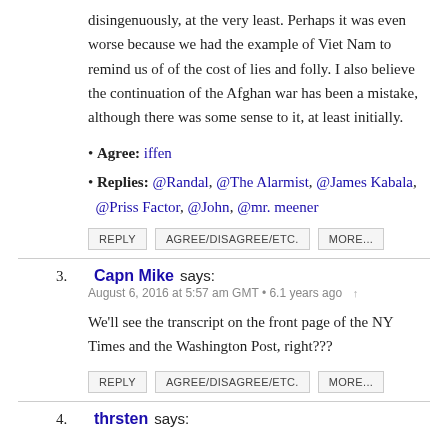disingenuously, at the very least. Perhaps it was even worse because we had the example of Viet Nam to remind us of of the cost of lies and folly. I also believe the continuation of the Afghan war has been a mistake, although there was some sense to it, at least initially.
Agree: iffen
Replies: @Randal, @The Alarmist, @James Kabala, @Priss Factor, @John, @mr. meener
REPLY  AGREE/DISAGREE/ETC.  MORE...
3. Capn Mike says: August 6, 2016 at 5:57 am GMT • 6.1 years ago
We'll see the transcript on the front page of the NY Times and the Washington Post, right???
REPLY  AGREE/DISAGREE/ETC.  MORE...
4. thrsten says: